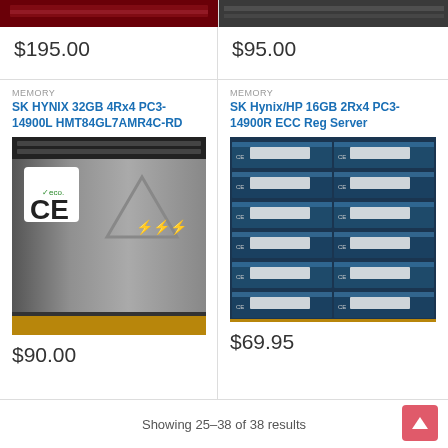[Figure (photo): Partial image of a hardware/memory module, red tones visible at top left]
[Figure (photo): Partial image of a hardware/memory module, dark tones visible at top right]
$195.00
$95.00
MEMORY
SK HYNIX 32GB 4Rx4 PC3-14900L HMT84GL7AMR4C-RD
[Figure (photo): Photo of SK Hynix 32GB memory module showing CE marking and warning symbols on metal heat spreader]
$90.00
MEMORY
SK Hynix/HP 16GB 2Rx4 PC3-14900R ECC Reg Server
[Figure (photo): Photo of multiple SK Hynix/HP 16GB server RAM sticks stacked together showing blue PCB with gold contacts]
$69.95
Showing 25–38 of 38 results